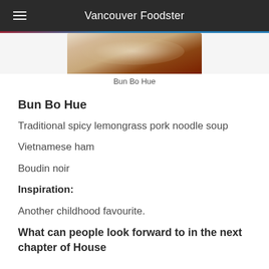Vancouver Foodster
[Figure (photo): Partial image of Bun Bo Hue dish in a bowl, showing rice/noodle contents with dark broth tones]
Bun Bo Hue
Bun Bo Hue
Traditional spicy lemongrass pork noodle soup
Vietnamese ham
Boudin noir
Inspiration:
Another childhood favourite.
What can people look forward to in the next chapter of House